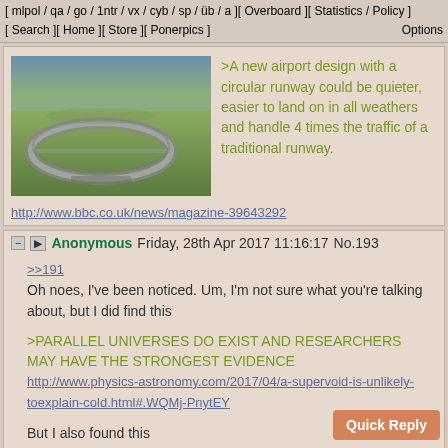[ mlpol / qa / go / 1ntr / vx / cyb / sp / üb / a ][ Overboard ][ Statistics / Policy ]
[ Search ][ Home ][ Store ][ Ponerpics ] Options
[Figure (photo): Aerial render of a circular runway airport design on green landscape]
>A new airport design with a circular runway could be quieter, easier to land on in all weathers and handle 4 times the traffic of a traditional runway.
http://www.bbc.co.uk/news/magazine-39643292
Anonymous Friday, 28th Apr 2017 11:16:17 No.193
>>191
Oh noes, I've been noticed. Um, I'm not sure what you're talking about, but I did find this
>PARALLEL UNIVERSES DO EXIST AND RESEARCHERS MAY HAVE THE STRONGEST EVIDENCE
http://www.physics-astronomy.com/2017/04/a-supervoid-is-unlikely-toexplain-cold.html#.WQMj-PnytEY
But I also found this
>WHAT! NO PARALLEL UNIVERSE? COSMIC COLD SPOT JUST DATA ARTIFACT
https://www.universetoday.com/40413/what-no-parallel-universe-cosmic-cold-spot-just-data-artifact/
But who you're really looking for is a British chap who went by the name of "Space Elevator." I'm mostly just reposting his